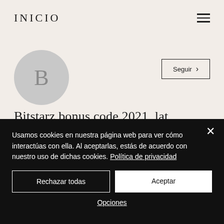INICIO
[Figure (illustration): User avatar placeholder circle with letter B]
Bitstarz bonus code 2021, lat...
0 Seguidores • 0 Siguiendo
Usamos cookies en nuestra página web para ver cómo interactúas con ella. Al aceptarlas, estás de acuerdo con nuestro uso de dichas cookies. Política de privacidad
Rechazar todas
Aceptar
Opciones